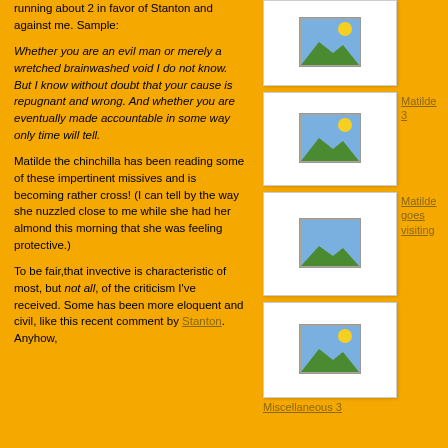running about 2 in favor of Stanton and against me.  Sample:
Whether you are an evil man or merely a wretched brainwashed void I do not know.  But I know without doubt that your cause is repugnant and wrong.  And whether you are eventually made accountable in some way only time will tell.
Matilde the chinchilla has been reading some of these impertinent missives and is becoming rather cross!   (I can tell by the way she nuzzled close to me  while she had her almond this morning that she was feeling protective.)
To be fair,that invective is characteristic of most, but not all, of the criticism I've received. Some has been more eloquent and civil, like this recent comment by Stanton. Anyhow,
[Figure (illustration): Thumbnail image placeholder - landscape scene icon in silver frame]
[Figure (illustration): Thumbnail image placeholder - landscape scene with sun icon in silver frame, labeled Matilde 3]
Matilde 3
[Figure (illustration): Thumbnail image placeholder - landscape scene icon in silver frame, labeled Matilde goes visiting]
Matilde goes visiting
[Figure (illustration): Thumbnail image placeholder - landscape scene with sun icon in silver frame, labeled Miscellaneous 3]
Miscellaneous 3